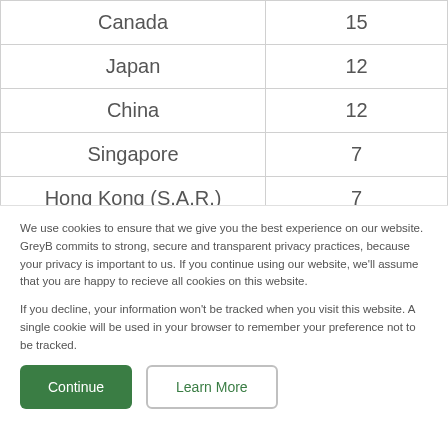| Country | Count |
| --- | --- |
| Canada | 15 |
| Japan | 12 |
| China | 12 |
| Singapore | 7 |
| Hong Kong (S.A.R.) | 7 |
| Mexico | 5 |
We use cookies to ensure that we give you the best experience on our website. GreyB commits to strong, secure and transparent privacy practices, because your privacy is important to us. If you continue using our website, we'll assume that you are happy to recieve all cookies on this website.

If you decline, your information won't be tracked when you visit this website. A single cookie will be used in your browser to remember your preference not to be tracked.